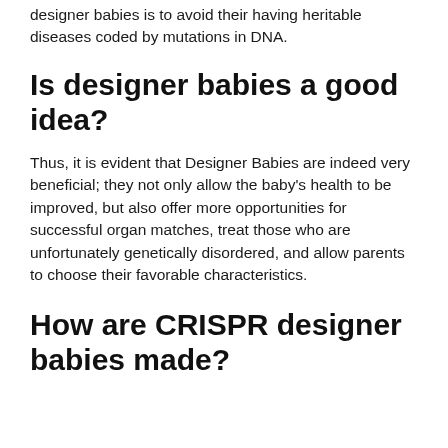designer babies is to avoid their having heritable diseases coded by mutations in DNA.
Is designer babies a good idea?
Thus, it is evident that Designer Babies are indeed very beneficial; they not only allow the baby's health to be improved, but also offer more opportunities for successful organ matches, treat those who are unfortunately genetically disordered, and allow parents to choose their favorable characteristics.
How are CRISPR designer babies made?